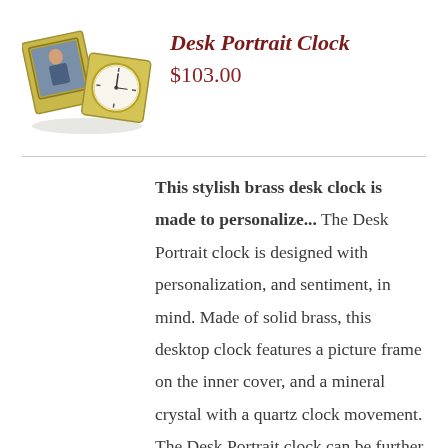[Figure (photo): Product photo of a brass Desk Portrait Clock showing a folding case with a picture frame on one side and a clock face on the other, displayed open and at an angle.]
Desk Portrait Clock
$103.00
This stylish brass desk clock is made to personalize... The Desk Portrait clock is designed with personalization, and sentiment, in mind. Made of solid brass, this desktop clock features a picture frame on the inner cover, and a mineral crystal with a quartz clock movement. The Desk Portrait clock can be further personalized with a medallion on the front cover.